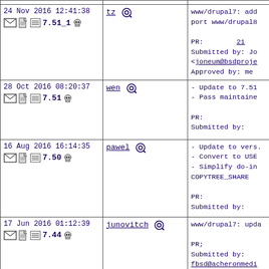| Date/Version | Committer | Description |
| --- | --- | --- |
| 24 Nov 2016 12:41:38
7.51_1 | tz | www/drupal7: add
port www/drupal8

PR:        21
Submitted by: Jo
<joneum@bsdproje
Approved by: me |
| 28 Oct 2016 08:20:37
7.51 | wen | - Update to 7.51
- Pass maintaine

PR:
Submitted by: |
| 16 Aug 2016 16:14:35
7.50 | pawel | - Update to vers.
- Convert to USE
- Simplify do-in
COPYTREE_SHARE

PR:
Submitted by: |
| 17 Jun 2016 01:12:39
7.44 | junovitch | www/drupal7: upda

PR;
Submitted by:
fbsd@acheronmedi
Security:
https://vuxml.Fr |